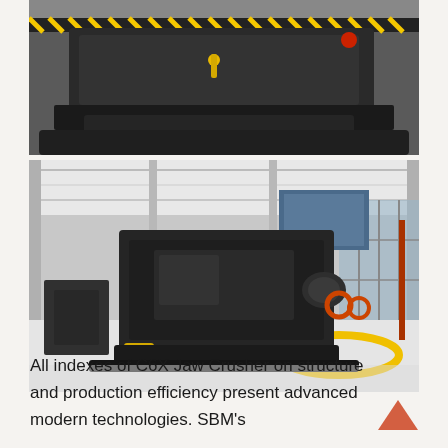[Figure (photo): Close-up photo of a C6X Jaw Crusher machine component showing dark metallic heavy industrial crushing equipment with yellow safety markings and hazard tape in an industrial facility.]
[Figure (photo): Wide-angle photo of C6X Jaw Crusher units displayed inside a large industrial warehouse/exhibition hall. Multiple black heavy-duty jaw crusher machines are shown on a bright white floor, with industrial building structure and glazed walls visible in the background. Orange safety rings and yellow painted floor markings are visible.]
All indexes of C6X Jaw Crusher on structure and production efficiency present advanced modern technologies. SBM's